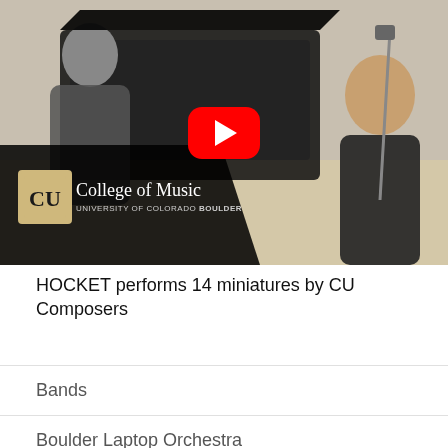[Figure (screenshot): YouTube video thumbnail showing two musicians performing at a piano in a studio. The video has the CU College of Music University of Colorado Boulder branding overlay and a YouTube play button in the center.]
HOCKET performs 14 miniatures by CU Composers
Bands
Boulder Laptop Orchestra
Chamber Music
Choral Music
Early Music